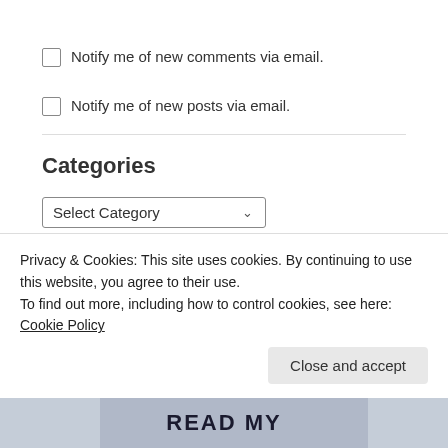Notify me of new comments via email.
Notify me of new posts via email.
Categories
[Figure (screenshot): A dropdown select widget labeled 'Select Category' with a chevron arrow on the right]
[Figure (screenshot): A search bar with placeholder text 'Search' and a Search button]
Privacy & Cookies: This site uses cookies. By continuing to use this website, you agree to their use. To find out more, including how to control cookies, see here: Cookie Policy
Close and accept